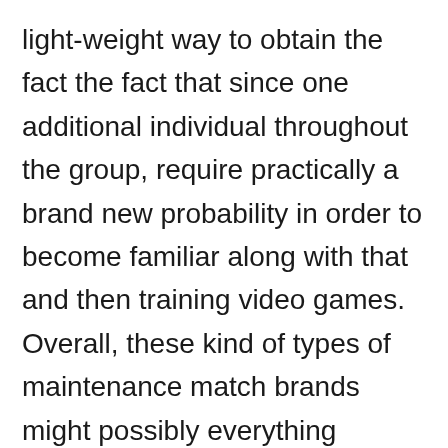light-weight way to obtain the fact the fact that since one additional individual throughout the group, require practically a brand new probability in order to become familiar along with that and then training video games. Overall, these kind of types of maintenance match brands might possibly everything needed end up being dabbled in relatively. Among the adjust competed out there movable casino game titles would be the black-